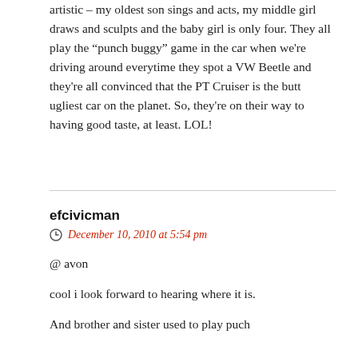artistic – my oldest son sings and acts, my middle girl draws and sculpts and the baby girl is only four. They all play the “punch buggy” game in the car when we're driving around everytime they spot a VW Beetle and they're all convinced that the PT Cruiser is the butt ugliest car on the planet. So, they're on their way to having good taste, at least. LOL!
efcivicman
December 10, 2010 at 5:54 pm
@ avon
cool i look forward to hearing where it is.
And brother and sister used to play puch